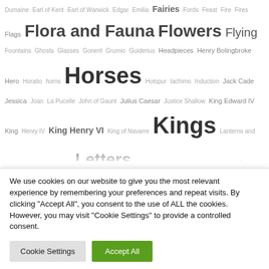Dumaine Earl of Kent Earl of Warwick Edgar Emilia Fairies Fords Feast Fire Fires Flags Flora and Fauna Flowers Flying Fountains Ghosts Glasses Goneril Grumio Guiderius Headpieces Henry Bolingbroke Hero Horatio horns Horses Hotspur Iachimo Induction Jack Cade Jessica Joan La Pucelle John of Gaunt Julius Caesar Justice Shallow King Edward IV King Henry IV King Henry VI King of Navarre Kings Lanterns and Lamps Launce Leonato Letters Longueville Lord Talbot Lucio Maria (Twelfth Night) Masks Mistress Ford Mistress Page Monsters Moon Murderers Musicians and Music Night Nurse Pandarus Parolles Perdita Pericles Philip the Bastard Pillars Pistol Plates Poins Polixenes Polonius Portraits Posthumus Pots Princess of France (Love's Labour's Lost) Queen (Richard II) Queen Elizabeth
We use cookies on our website to give you the most relevant experience by remembering your preferences and repeat visits. By clicking "Accept All", you consent to the use of ALL the cookies. However, you may visit "Cookie Settings" to provide a controlled consent.